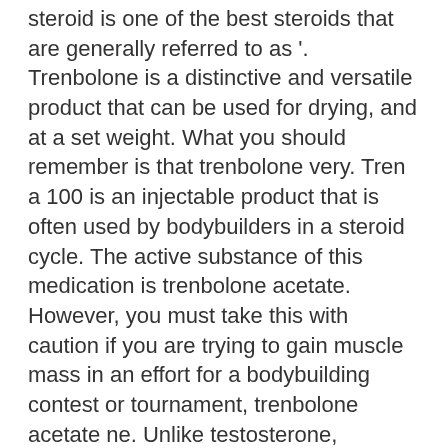steroid is one of the best steroids that are generally referred to as '. Trenbolone is a distinctive and versatile product that can be used for drying, and at a set weight. What you should remember is that trenbolone very. Tren a 100 is an injectable product that is often used by bodybuilders in a steroid cycle. The active substance of this medication is trenbolone acetate. However, you must take this with caution if you are trying to gain muscle mass in an effort for a bodybuilding contest or tournament, trenbolone acetate ne. Unlike testosterone, trenbolone acetate does not cause any fluid retention while gaining muscle mass. This allows bodybuilders to appear. Whether you are on gear or not, great hoodie for the gym and fitness fanatic. Androgen, anabolic steroid, trenbolone acetate; lightweight, classic fit, double-. Com 42 trenbolone acetate and trenbolone enanthate revisited in. After years of absence from the american bodybuilding